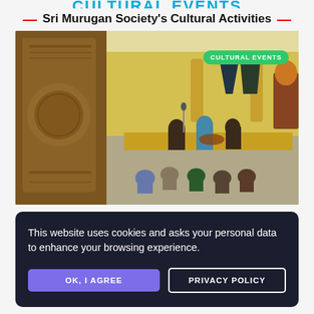CULTURAL EVENTS (partial, top-cropped)
Sri Murugan Society's Cultural Activities
[Figure (photo): Indoor cultural event at a Hindu temple hall. People seated on the floor watching musicians performing on a low stage. A large ornate bronze/gold temple tower (gopuram-style pillar detail) is visible on the left. Yellow walls with Hindu deity figures/statues in the background. A green badge overlay reads 'CULTURAL EVENTS'.]
This website uses cookies and asks your personal data to enhance your browsing experience.
OK, I AGREE
PRIVACY POLICY